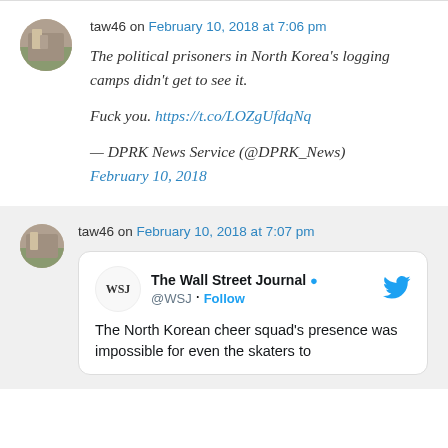taw46 on February 10, 2018 at 7:06 pm

The political prisoners in North Korea's logging camps didn't get to see it.

Fuck you. https://t.co/LOZgUfdqNq

— DPRK News Service (@DPRK_News) February 10, 2018
taw46 on February 10, 2018 at 7:07 pm

The North Korean cheer squad's presence was impossible for even the skaters to...
[Figure (screenshot): Twitter embed from The Wall Street Journal (@WSJ) with text: The North Korean cheer squad's presence was impossible for even the skaters to...]